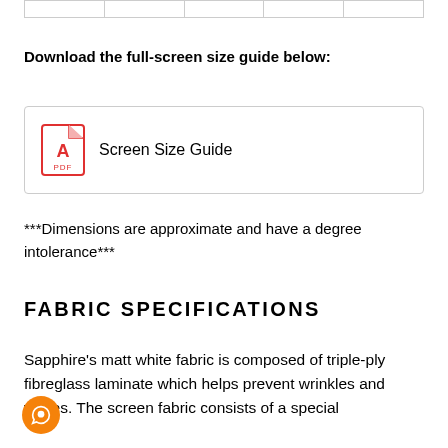|  |
Download the full-screen size guide below:
[Figure (other): PDF icon with text 'Screen Size Guide' inside a bordered box]
***Dimensions are approximate and have a degree intolerance***
FABRIC SPECIFICATIONS
Sapphire's matt white fabric is composed of triple-ply fibreglass laminate which helps prevent wrinkles and waves. The screen fabric consists of a special